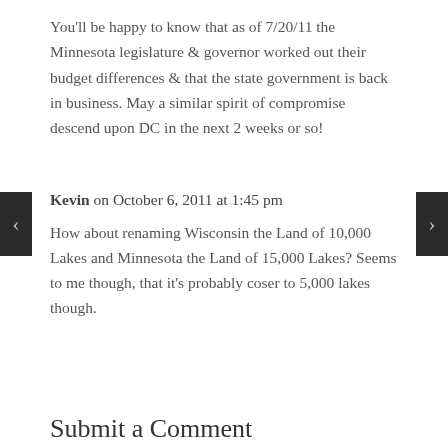You'll be happy to know that as of 7/20/11 the Minnesota legislature & governor worked out their budget differences & that the state government is back in business. May a similar spirit of compromise descend upon DC in the next 2 weeks or so!
Kevin on October 6, 2011 at 1:45 pm
How about renaming Wisconsin the Land of 10,000 Lakes and Minnesota the Land of 15,000 Lakes? Seems to me though, that it's probably coser to 5,000 lakes though.
Submit a Comment